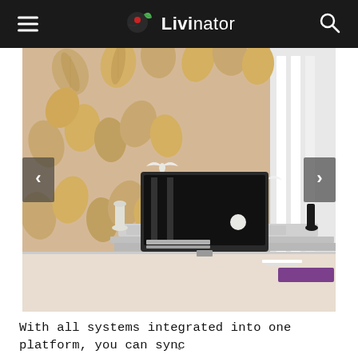Livinator
[Figure (photo): A living room interior with a 3D golden leaf wallpaper mural covering the wall behind a white TV console. A flat-screen TV is mounted centrally. White decorative bird figures are on the wall. The room has white flooring and modern furniture.]
With all systems integrated into one platform, you can sync